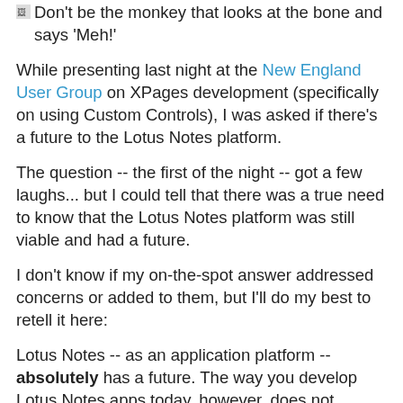Don't be the monkey that looks at the bone and says 'Meh!'
While presenting last night at the New England User Group on XPages development (specifically on using Custom Controls), I was asked if there's a future to the Lotus Notes platform.
The question -- the first of the night -- got a few laughs... but I could tell that there was a true need to know that the Lotus Notes platform was still viable and had a future.
I don't know if my on-the-spot answer addressed concerns or added to them, but I'll do my best to retell it here:
Lotus Notes -- as an application platform -- absolutely has a future. The way you develop Lotus Notes apps today, however, does not.
There is a paradigm shift at play with how Lotus Notes applications are written, and it's not due to the advent of